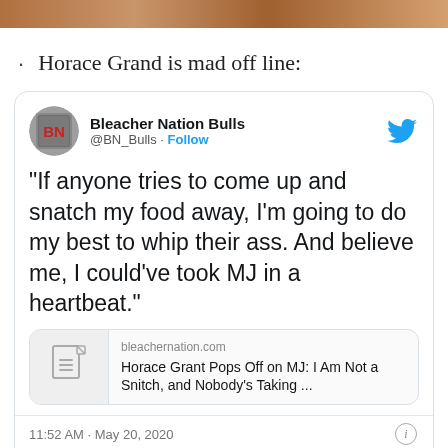[Figure (photo): Partial image banner at top of page, cropped]
Horace Grand is mad off line:
[Figure (screenshot): Embedded tweet from @BN_Bulls (Bleacher Nation Bulls) quoting Horace Grant: "If anyone tries to come up and snatch my food away, I'm going to do my best to whip their ass. And believe me, I could've took MJ in a heartbeat." with a link card to bleachernation.com article 'Horace Grant Pops Off on MJ: I Am Not a Snitch, and Nobody's Taking ...' posted 11:52 AM · May 20, 2020]